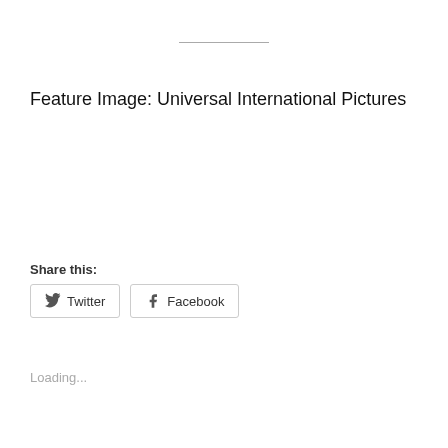Feature Image: Universal International Pictures
Share this:
Twitter  Facebook
Loading...